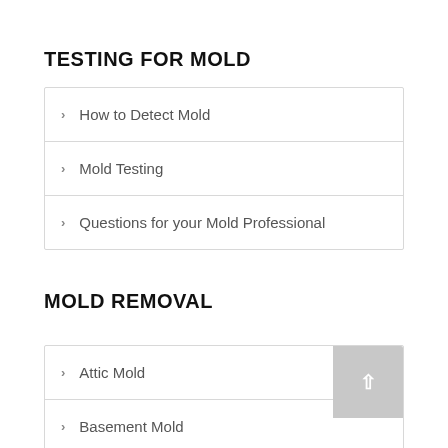TESTING FOR MOLD
How to Detect Mold
Mold Testing
Questions for your Mold Professional
MOLD REMOVAL
Attic Mold
Basement Mold
Bathroom Mold